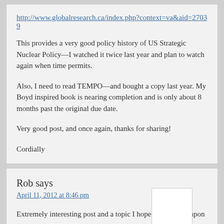http://www.globalresearch.ca/index.php?context=va&aid=27039
This provides a very good policy history of US Strategic Nuclear Policy—I watched it twice last year and plan to watch again when time permits.
Also, I need to read TEMPO—and bought a copy last year. My Boyd inspired book is nearing completion and is only about 8 months past the original due date.
Very good post, and once again, thanks for sharing!
Cordially
Rob says
April 11, 2012 at 8:46 pm
Extremely interesting post and a topic I hope you expand upon soon.